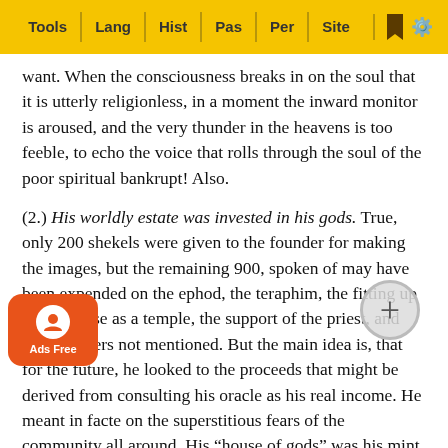Tools | Lang | Hist | Pas | Per | Site
want. When the consciousness breaks in on the soul that it is utterly religionless, in a moment the inward monitor is aroused, and the very thunder in the heavens is too feeble, to echo the voice that rolls through the soul of the poor spiritual bankrupt! Also.
(2.) His worldly estate was invested in his gods. True, only 200 shekels were given to the founder for making the images, but the remaining 900, spoken of may have been expended on the ephod, the teraphim, the fitting up of the house as a temple, the support of the priest, and other matters not mentioned. But the main idea is, that for the future, he looked to the proceeds that might be derived from consulting his oracle as his real income. He meant in fa[ct to liv]e on the superstitious fears of the community all ar[ound.] His “house of gods” was his mint. He coined money there[by — a peculiar form of swindling based on his rel]tion! It is n[ot recorded what became of him in the en]d, but is left [off in prosperity,] and a